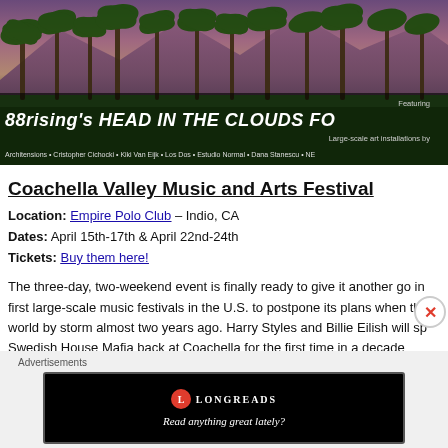[Figure (photo): Festival promotional banner showing Coachella valley landscape with palm trees against purple mountain backdrop, featuring '88rising's HEAD IN THE CLOUDS FOR' text overlay with large-scale art installations credits including Architensions, Cristopher Cichocki, Kiki Van Eijk, Los Dos, Estudio Normal, Dana Stanescu, NE...]
Coachella Valley Music and Arts Festival
Location: Empire Polo Club – Indio, CA
Dates: April 15th-17th & April 22nd-24th
Tickets: Buy them here!
The three-day, two-weekend event is finally ready to give it another go in first large-scale music festivals in the U.S. to postpone its plans when the world by storm almost two years ago. Harry Styles and Billie Eilish will sp Swedish House Mafia back at Coachella for the first time in a decade...
Advertisements
[Figure (screenshot): Longreads advertisement banner with black background showing the Longreads logo (red circle with L) and tagline 'Read anything great lately?']